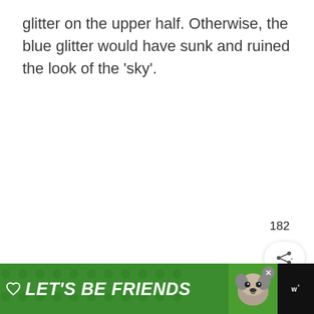glitter on the upper half. Otherwise, the blue glitter would have sunk and ruined the look of the 'sky'.
[Figure (other): UI elements: heart/like button (dark red circle with heart icon), like count '182', share button with share icon]
[Figure (other): Advertisement banner: dark background with green section reading 'LET'S BE FRIENDS' in bold italic white text with a husky dog photo, close button, and Wattpad logo on right]